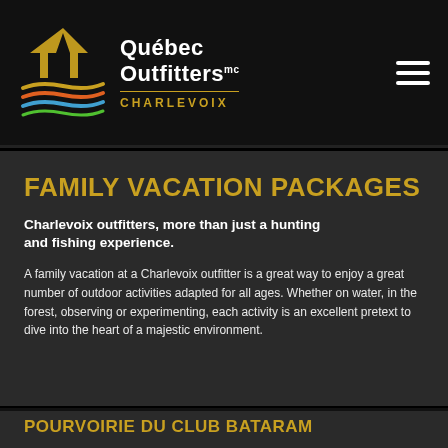Québec Outfitters CHARLEVOIX
FAMILY VACATION PACKAGES
Charlevoix outfitters, more than just a hunting and fishing experience.
A family vacation at a Charlevoix outfitter is a great way to enjoy a great number of outdoor activities adapted for all ages. Whether on water, in the forest, observing or experimenting, each activity is an excellent pretext to dive into the heart of a majestic environment.
POURVOIRIE DU CLUB BATARAM